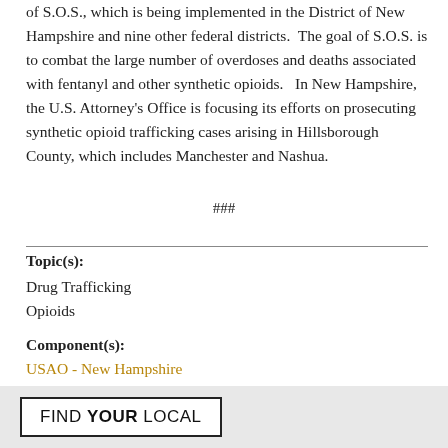of S.O.S., which is being implemented in the District of New Hampshire and nine other federal districts.  The goal of S.O.S. is to combat the large number of overdoses and deaths associated with fentanyl and other synthetic opioids.   In New Hampshire, the U.S. Attorney's Office is focusing its efforts on prosecuting synthetic opioid trafficking cases arising in Hillsborough County, which includes Manchester and Nashua.
###
Topic(s):
Drug Trafficking
Opioids
Component(s):
USAO - New Hampshire
Press Release Number:
20-057
Updated April 20, 2020
FIND YOUR LOCAL